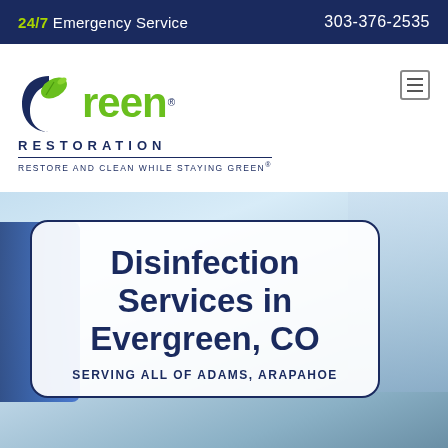24/7 Emergency Service   303-376-2535
[Figure (logo): Green Restoration logo with green leaf swirl icon, bold green 'reen' text, 'RESTORATION' in blue caps, tagline 'RESTORE AND CLEAN WHILE STAYING GREEN®']
[Figure (photo): Hero image with city building background and blue restoration van on left, with a white rounded-corner card overlay showing the page title]
Disinfection Services in Evergreen, CO
SERVING ALL OF ADAMS, ARAPAHOE